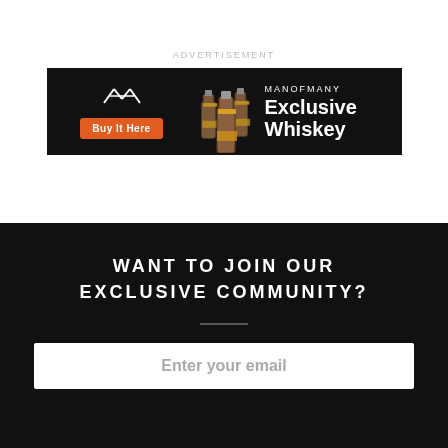ADVERTISEMENT
[Figure (illustration): ManOfMany Exclusive Whiskey advertisement banner with black background, MOM logo, orange Buy It Here button, three whiskey bottles, and text MANOFMANY Exclusive Whiskey]
WANT TO JOIN OUR EXCLUSIVE COMMUNITY?
Enter your email